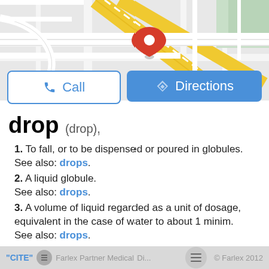[Figure (map): Street map screenshot showing road intersections with a red location pin marker in the center, yellow highlighted roads, and city street grid.]
Call | Directions (UI buttons)
drop (drop),
1. To fall, or to be dispensed or poured in globules.
See also: drops.
2. A liquid globule.
See also: drops.
3. A volume of liquid regarded as a unit of dosage, equivalent in the case of water to about 1 minim.
See also: drops.
4. A solid confection in globular form, usually intended to be allowed to dissolve in the mouth.
[A.S. droppan]
"CITE" Farlex Partner Medical Di... © Farlex 2012